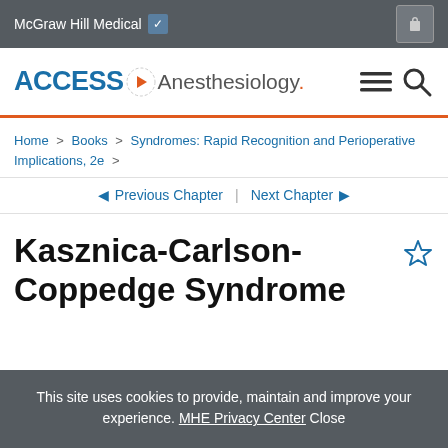McGraw Hill Medical
[Figure (logo): Access Anesthesiology logo with orange arrow and dot]
Home > Books > Syndromes: Rapid Recognition and Perioperative Implications, 2e >
◄ Previous Chapter | Next Chapter ►
Kasznica-Carlson-Coppedge Syndrome
This site uses cookies to provide, maintain and improve your experience. MHE Privacy Center Close